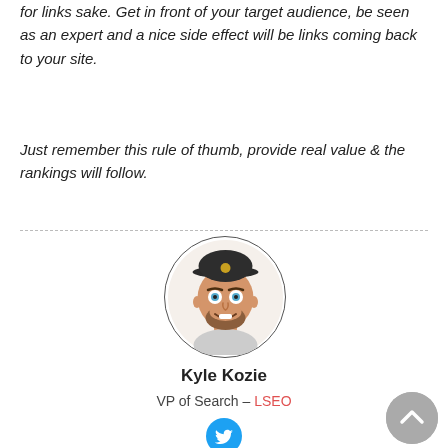for links sake. Get in front of your target audience, be seen as an expert and a nice side effect will be links coming back to your site.
Just remember this rule of thumb, provide real value & the rankings will follow.
[Figure (illustration): Circular avatar illustration of Kyle Kozie, a man with a beard wearing a dark cap, cartoon/bitmoji style]
Kyle Kozie
VP of Search – LSEO
[Figure (logo): Twitter bird icon in blue circle]
[Figure (other): Gray circular back-to-top arrow button in bottom right corner]
Make sure that your big local citations are tackled...